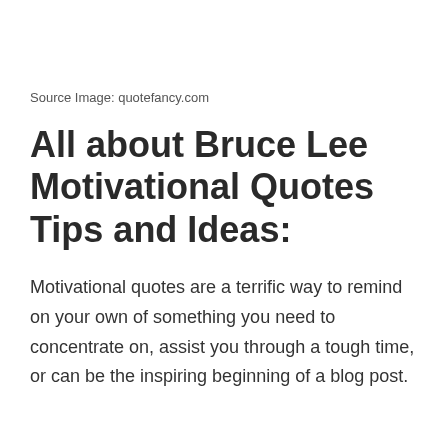Source Image: quotefancy.com
All about Bruce Lee Motivational Quotes Tips and Ideas:
Motivational quotes are a terrific way to remind on your own of something you need to concentrate on, assist you through a tough time, or can be the inspiring beginning of a blog post.